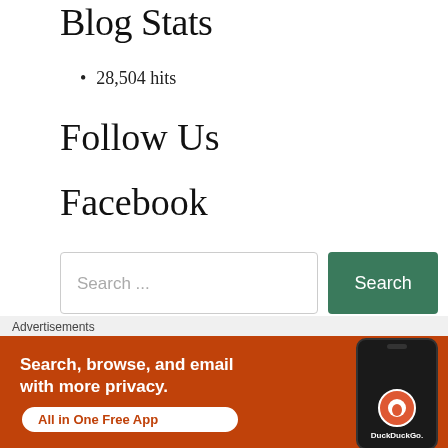Blog Stats
28,504 hits
Follow Us
Facebook
Search ...
Healing From Head to Toe
[Figure (screenshot): DuckDuckGo advertisement banner: 'Search, browse, and email with more privacy. All in One Free App' with DuckDuckGo logo on a phone]